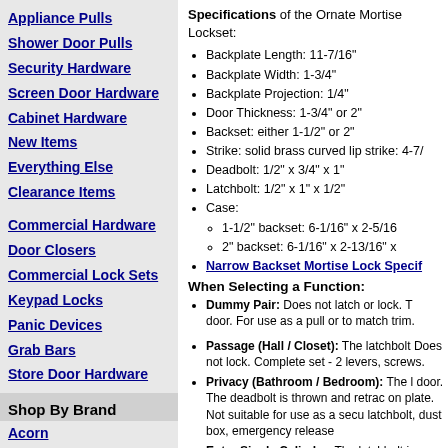Appliance Pulls
Shower Door Pulls
Security Hardware
Screen Door Hardware
Cabinet Hardware
New Items
Everything Else
Clearance Items
Commercial Hardware
Door Closers
Commercial Lock Sets
Keypad Locks
Panic Devices
Grab Bars
Store Door Hardware
Shop By Brand
Acorn
All...
Specifications of the Ornate Mortise Lockset:
Backplate Length: 11-7/16"
Backplate Width: 1-3/4"
Backplate Projection: 1/4"
Door Thickness: 1-3/4" or 2"
Backset: either 1-1/2" or 2"
Strike: solid brass curved lip strike: 4-7/...
Deadbolt: 1/2" x 3/4" x 1"
Latchbolt: 1/2" x 1" x 1/2"
Case: 1-1/2" backset: 6-1/16" x 2-5/16... / 2" backset: 6-1/16" x 2-13/16" x...
Narrow Backset Mortise Lock Specif...
When Selecting a Function:
Dummy Pair: Does not latch or lock. For use as a pull or to match trim.
Passage (Hall / Closet): The latchbolt... Does not lock. Complete set - 2 levers, screws.
Privacy (Bathroom / Bedroom): The latchbolt... door. The deadbolt is thrown and retracted on plate. Not suitable for use as a security latchbolt, dust box, emergency release...
Entry Single Cylinder: The latchbolt is... exterior. The deadbolt is operated by a locking rocker switch; hubs always ope... cylinder, lock faceplate, strike plate, latch...
Entry Double Cylinder: The latchbolt is... exterior. The deadbolt is operated by a...